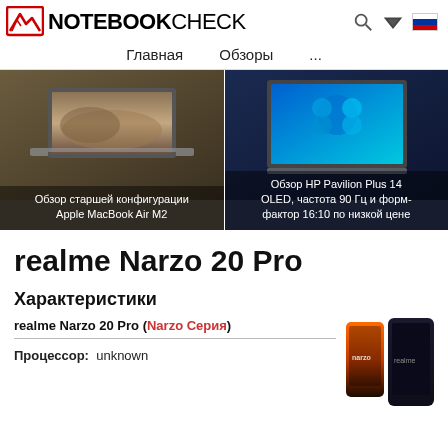NOTEBOOKCHECK — Главная  Обзоры  ...
[Figure (screenshot): Banner showing two laptop review thumbnails: Apple MacBook Air M2 on the left (dark background), HP Pavilion Plus 14 on the right (blue Windows 11 wallpaper). Captions: 'Обзор старшей конфигурации Apple MacBook Air M2' and 'Обзор HP Pavilion Plus 14 OLED, частота 90 Гц и форм-фактор 16:10 по низкой цене']
realme Narzo 20 Pro
Характеристики
realme Narzo 20 Pro (Narzo Серия)
Процессор: unknown